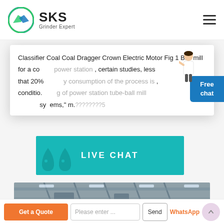[Figure (logo): SKS Grinder Expert logo with circular green/blue icon and bold text]
Classifier Coal Coal Dragger Crown Electric Motor Fig 1 Ball mill for a co... power station , certain studies, less that 20% ...y consumption of the process is, conditio... ...g of power station tube-ball mill sy...ems," m...????????5
[Figure (screenshot): Live chat widget banner with teal background and chat icons]
[Figure (photo): Industrial factory interior with steel structure and overhead lighting]
Get a Quote
Please enter ...
Send
WhatsApp